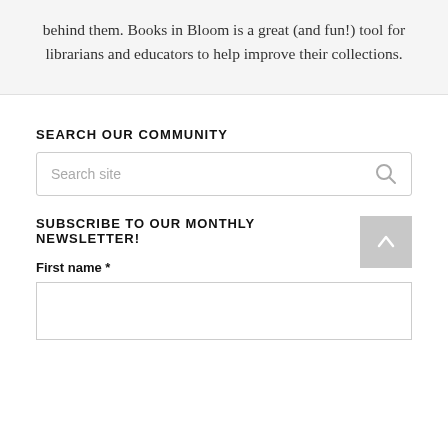behind them. Books in Bloom is a great (and fun!) tool for librarians and educators to help improve their collections.
SEARCH OUR COMMUNITY
[Figure (other): Search site input box with search icon on the right]
SUBSCRIBE TO OUR MONTHLY NEWSLETTER!
First name *
[Figure (other): First name text input field]